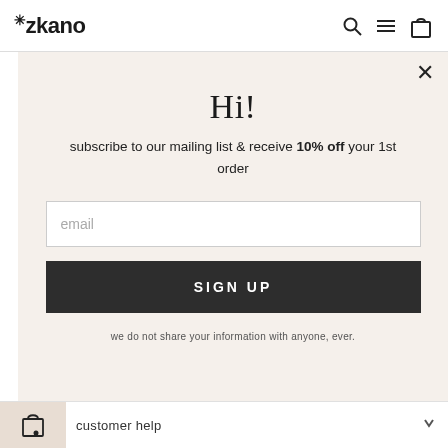zkano
Hi!
subscribe to our mailing list & receive 10% off your 1st order
email
SIGN UP
we do not share your information with anyone, ever.
customer help